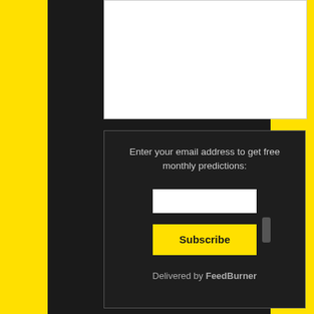[Figure (other): White content area box at top of dark center panel]
Enter your email address to get free monthly predictions:
[Figure (other): White email input field]
Subscribe
Delivered by FeedBurner